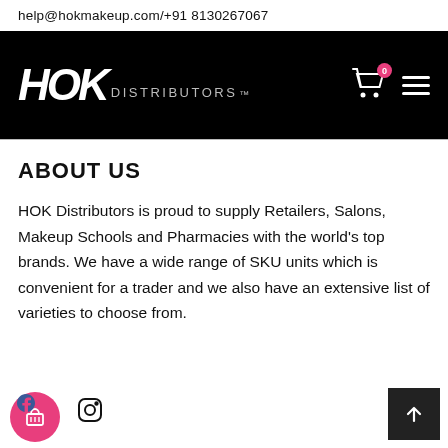help@hokmakeup.com/+91 8130267067
[Figure (logo): HOK Distributors logo on black navigation header with cart icon (badge: 0) and hamburger menu]
ABOUT US
HOK Distributors is proud to supply Retailers, Salons, Makeup Schools and Pharmacies with the world's top brands. We have a wide range of SKU units which is convenient for a trader and we also have an extensive list of varieties to choose from.
[Figure (illustration): Facebook and Instagram social media icons, pink floating basket/cart button, dark back-to-top arrow button]